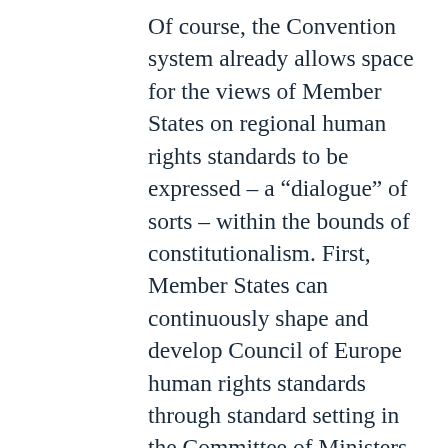Of course, the Convention system already allows space for the views of Member States on regional human rights standards to be expressed – a “dialogue” of sorts – within the bounds of constitutionalism. First, Member States can continuously shape and develop Council of Europe human rights standards through standard setting in the Committee of Ministers.  In individual cases before the Court, they also have wide powers to put forward their views through third party interventions. “Dialogue” between governments and an independent court outside of these spheres is